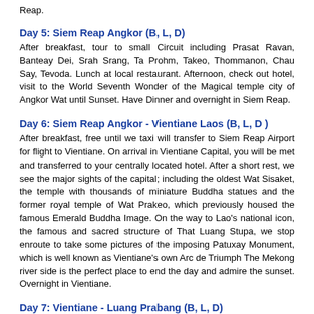Reap.
Day 5: Siem Reap Angkor (B, L, D)
After breakfast, tour to small Circuit including Prasat Ravan, Banteay Dei, Srah Srang, Ta Prohm, Takeo, Thommanon, Chau Say, Tevoda. Lunch at local restaurant. Afternoon, check out hotel, visit to the World Seventh Wonder of the Magical temple city of Angkor Wat until Sunset. Have Dinner and overnight in Siem Reap.
Day 6: Siem Reap Angkor - Vientiane Laos (B, L, D )
After breakfast, free until we taxi will transfer to Siem Reap Airport for flight to Vientiane. On arrival in Vientiane Capital, you will be met and transferred to your centrally located hotel. After a short rest, we see the major sights of the capital; including the oldest Wat Sisaket, the temple with thousands of miniature Buddha statues and the former royal temple of Wat Prakeo, which previously housed the famous Emerald Buddha Image. On the way to Lao's national icon, the famous and sacred structure of That Luang Stupa, we stop enroute to take some pictures of the imposing Patuxay Monument, which is well known as Vientiane's own Arc de Triumph The Mekong river side is the perfect place to end the day and admire the sunset. Overnight in Vientiane.
Day 7: Vientiane - Luang Prabang (B, L, D)
Today, we transfer to the airport for the short flight to Luang Prabang, which is perhaps the best-preserved traditional city in Southeast Asia. After checking into your hotel, we visit the impressive stupa of Wat Visoun and the s the top of Mount Phousi to explore the sacred, gilded stupa as well as have sunset. From there, we explore the Night Market, where you can browse a lov people and hill tribes surrounding Luang Prabang. Overnight in Luang Prabang